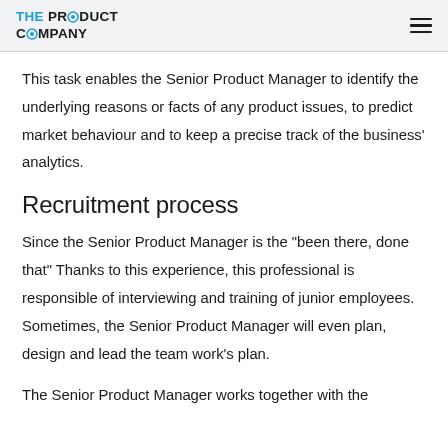THE PRODUCT COMPANY
This task enables the Senior Product Manager to identify the underlying reasons or facts of any product issues, to predict market behaviour and to keep a precise track of the business' analytics.
Recruitment process
Since the Senior Product Manager is the "been there, done that" Thanks to this experience, this professional is responsible of interviewing and training of junior employees. Sometimes, the Senior Product Manager will even plan, design and lead the team work's plan.
The Senior Product Manager works together with the